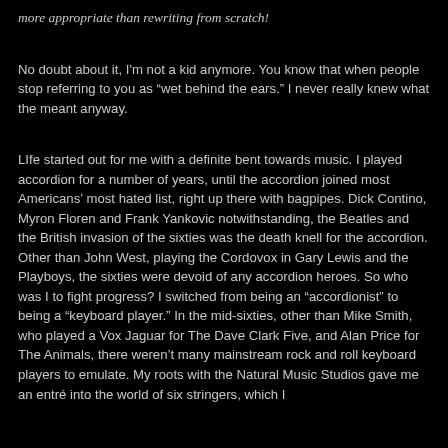more appropriate than rewriting from scratch!
No doubt about it, I'm not a kid anymore. You know that when people stop referring to you as “wet behind the ears.” I never really knew what the meant anyway.
LIfe started out for me with a definite bent towards music. I played accordion for a number of years, until the accordion joined most Americans’ most hated list, right up there with bagpipes. Dick Contino, Myron Floren and Frank Yankovic notwithstanding, the Beatles and the British invasion of the sixties was the death knell for the accordion. Other than John West, playing the Cordovox in Gary Lewis and the Playboys, the sixties were devoid of any accordion heroes. So who was I to fight progress? I switched from being an “accordionist” to being a “keyboard player.” In the mid-sixties, other than Mike Smith, who played a Vox Jaguar for The Dave Clark Five, and Alan Price for The Animals, there weren’t many mainstream rock and roll keyboard players to emulate. My roots with the Natural Music Studios gave me an entré into the world of six stringers, which I